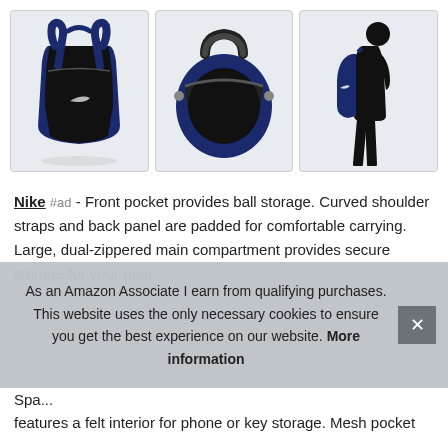[Figure (photo): Three product photos of a Nike backpack: left shows back view with navy blue and black colorway, middle shows top/open view of the bag, right shows a silhouette of a person wearing the backpack.]
Nike #ad - Front pocket provides ball storage. Curved shoulder straps and back panel are padded for comfortable carrying. Large, dual-zippered main compartment provides secure storage for your gear.
As an Amazon Associate I earn from qualifying purchases. This website uses the only necessary cookies to ensure you get the best experience on our website. More information
Spa... features a felt interior for phone or key storage. Mesh pocket